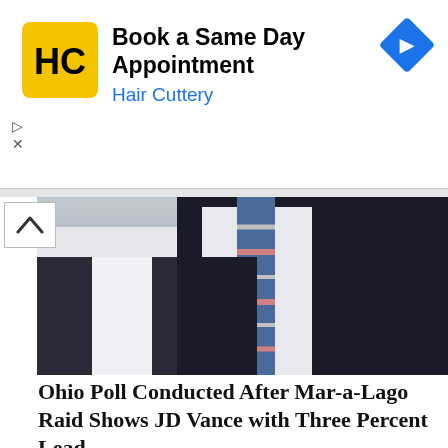[Figure (screenshot): Advertisement banner for Hair Cuttery with yellow/black logo, text 'Book a Same Day Appointment / Hair Cuttery' in blue, and a blue diamond navigation arrow icon on the right. Play and X controls on the left side.]
[Figure (photo): Partial cropped photo of a person in a dark suit with a striped tie (blue/pink/white), only torso and tie visible.]
Ohio Poll Conducted After Mar-a-Lago Raid Shows JD Vance with Three Percent Lead
[Figure (photo): Smiling middle-aged man with sandy/blonde hair in a suit, photographed in front of what appears to be the Ohio State Capitol building with columns and a dome visible in the background.]